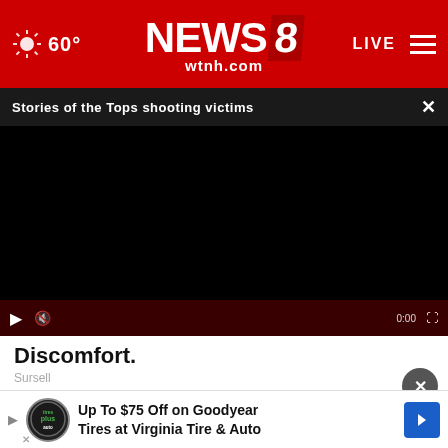NEWS 8 wtnh.com — 60° — LIVE
Stories of the Tops shooting victims
[Figure (screenshot): Black video player area with red controls bar at bottom showing play, mute, and timestamp/expand icons]
Discomfort.
Sursell
[Figure (infographic): Advertisement banner: Up To $75 Off on Goodyear Tires at Virginia Tire & Auto, with Tires Plus Auto logo and blue navigation arrow icon]